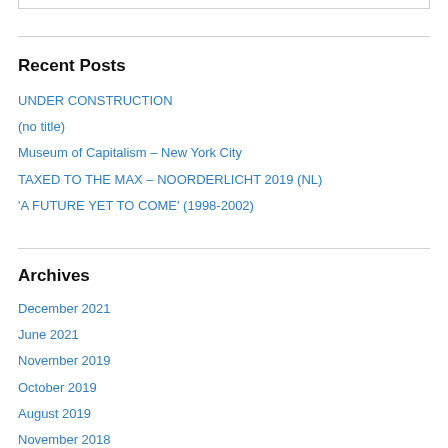Recent Posts
UNDER CONSTRUCTION
(no title)
Museum of Capitalism – New York City
TAXED TO THE MAX – NOORDERLICHT 2019 (NL)
'A FUTURE YET TO COME' (1998-2002)
Archives
December 2021
June 2021
November 2019
October 2019
August 2019
November 2018
August 2018